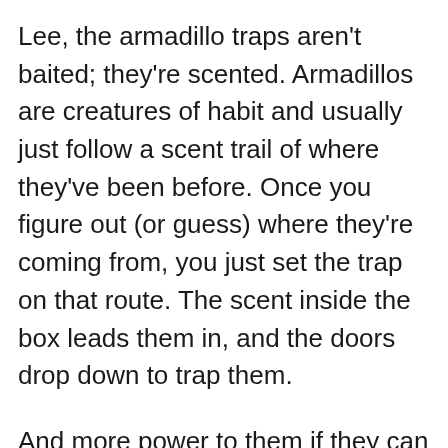Lee, the armadillo traps aren't baited; they're scented. Armadillos are creatures of habit and usually just follow a scent trail of where they've been before. Once you figure out (or guess) where they're coming from, you just set the trap on that route. The scent inside the box leads them in, and the doors drop down to trap them.
And more power to them if they can find their way back from five miles away! 🤣